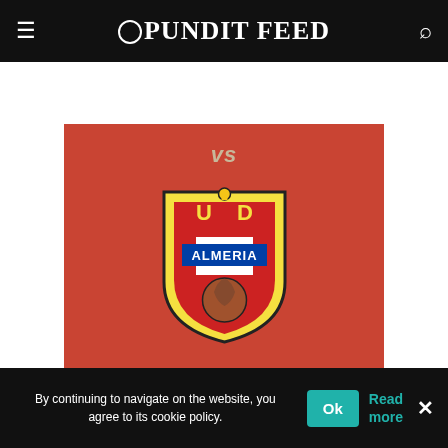Pundit Feed
[Figure (logo): UD Almeria football club crest on red background with 'VS' text above and 'December 4, 2021' below]
No odds currently available - check again later
By continuing to navigate on the website, you agree to its cookie policy.